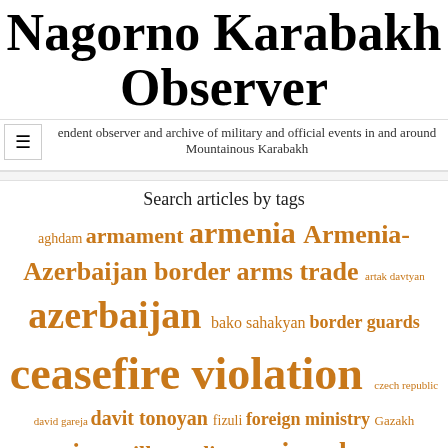Nagorno Karabakh Observer
endent observer and archive of military and official events in and around Mountainous Karabakh
Search articles by tags
aghdam armament armenia Armenia-Azerbaijan border arms trade artak davtyan azerbaijan bako sahakyan border guards ceasefire violation czech republic david gareja davit tonoyan fizuli foreign ministry Gazakh georgia hadrut ilham aliyev iran israel jalal harutyunyan karen abrahamyan map martakert military military exercises ministry of defence nagorno karabakh nakhichevan nikol pashinyan official meeting OSCE russia